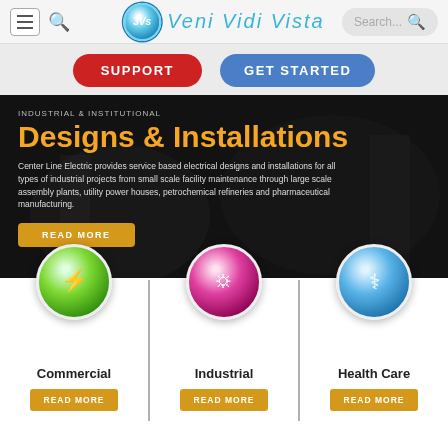[Figure (screenshot): Website navigation bar with hamburger menu, search icon, 3Vs Veni Vidi Vista logo, and search bar]
[Figure (screenshot): Two call-to-action buttons: SUPPORT (red) and GET STARTED (blue)]
Designs & Installations
Center Line Electric provides service based electrical designs and installations for all types of industrial projects from small scale facility maintenance through large scale assembly plants, utility power houses, petrochemical refineries and pharmaceutical manufacturing.
[Figure (screenshot): Three service cards: Commercial (green icon), Industrial (pink/magenta icon), Health Care (blue icon), each with READ MORE button]